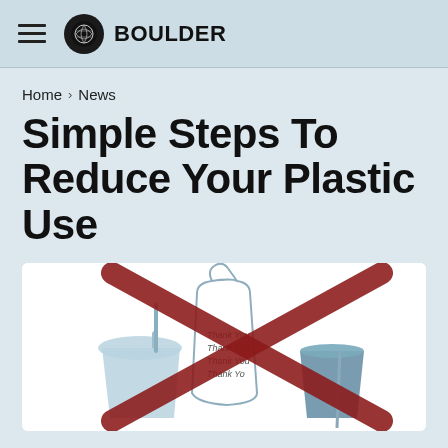BOULDER
Home > News
Simple Steps To Reduce Your Plastic Use
[Figure (illustration): Illustration of plastic items with a large red X crossed over them: a plastic drink cup with lid and straw on the left, a 'Thank You' plastic bag in the center crossed out with a red X, and a blue plastic cup with a straw on the right.]